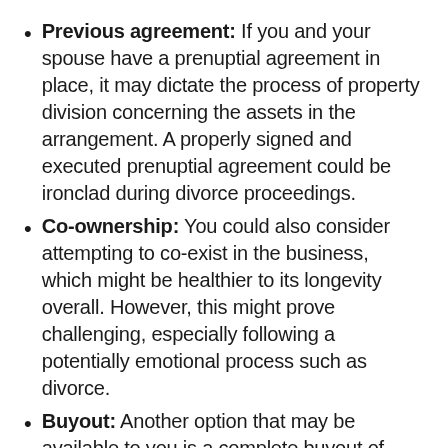Previous agreement: If you and your spouse have a prenuptial agreement in place, it may dictate the process of property division concerning the assets in the arrangement. A properly signed and executed prenuptial agreement could be ironclad during divorce proceedings.
Co-ownership: You could also consider attempting to co-exist in the business, which might be healthier to its longevity overall. However, this might prove challenging, especially following a potentially emotional process such as divorce.
Buyout: Another option that may be available to you is a complete buyout of